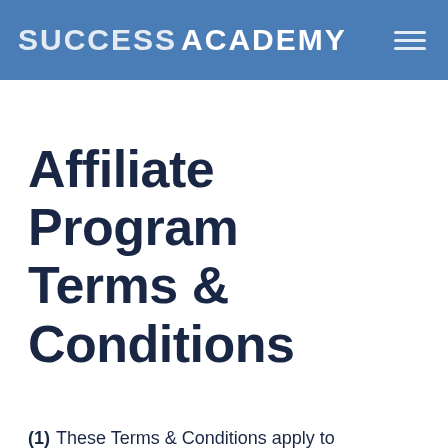SUCCESS ACADEMY
Affiliate Program Terms & Conditions
(1) These Terms & Conditions apply to